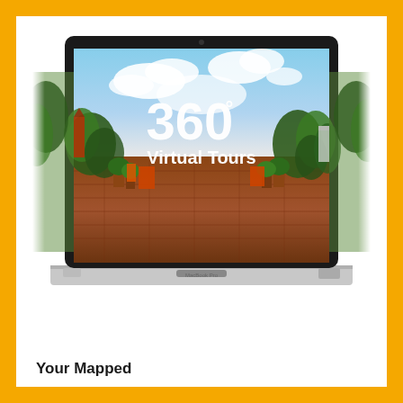[Figure (illustration): A MacBook Pro laptop shown from the front with a 360-degree panoramic outdoor garden/nursery scene on its screen. The text '360° Virtual Tours' is overlaid in large white bold font on the screen image. The panoramic image extends slightly beyond the screen edges giving a 360-degree feel.]
Your Mapped